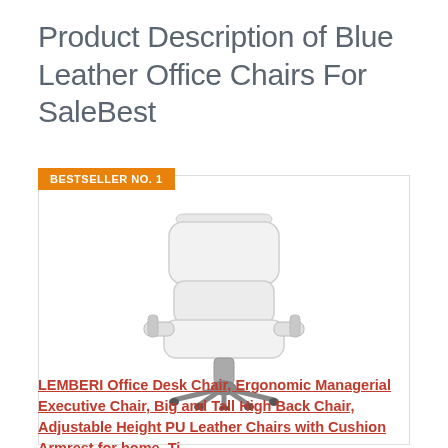Product Description of Blue Leather Office Chairs For SaleBest
BESTSELLER NO. 1
[Figure (photo): White leather executive office chair with chrome armrests and star base on wheels]
LEMBERI Office Desk Chair, Ergonomic Managerial Executive Chair, Big and Tall High Back Chair, Adjustable Height PU Leather Chairs with Cushion Armrest for home, Ti...